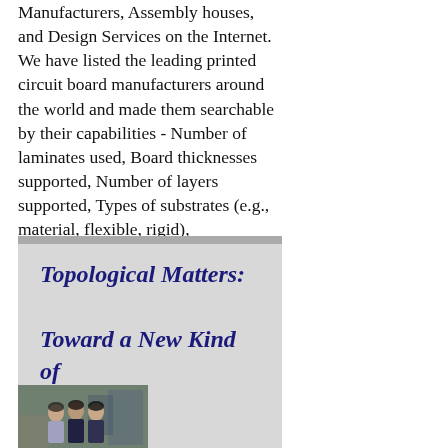Manufacturers, Assembly houses, and Design Services on the Internet. We have listed the leading printed circuit board manufacturers around the world and made them searchable by their capabilities - Number of laminates used, Board thicknesses supported, Number of layers supported, Types of substrates (e.g., material, flexible, rigid), Geographical location, and more ...
Topological Matters: Toward a New Kind of Transistor
[Figure (photo): Photo of three people standing together, likely in a laboratory or industrial setting with equipment visible in the background.]